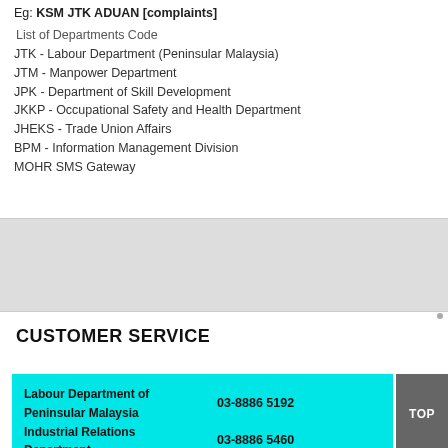Eg: KSM JTK ADUAN [complaints]
List of Departments Code
JTK - Labour Department (Peninsular Malaysia)
JTM - Manpower Department
JPK - Department of Skill Development
JKKP - Occupational Safety and Health Department
JHEKS - Trade Union Affairs
BPM - Information Management Division
MOHR SMS Gateway
CUSTOMER SERVICE
Labour Department of Peninsular Malaysia Industrial Relations Department | 03-8886 5192 | 03-8886 5460